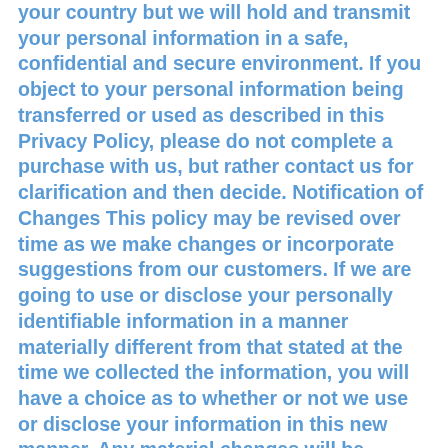your country but we will hold and transmit your personal information in a safe, confidential and secure environment. If you object to your personal information being transferred or used as described in this Privacy Policy, please do not complete a purchase with us, but rather contact us for clarification and then decide. Notification of Changes This policy may be revised over time as we make changes or incorporate suggestions from our customers. If we are going to use or disclose your personally identifiable information in a manner materially different from that stated at the time we collected the information, you will have a choice as to whether or not we use or disclose your information in this new manner. Any material changes will be effective only after we provide you by e-mail with at least 30 days' notice of the amended Privacy Policy to be sent to the email address on file. We will post the amended Privacy Policy prominently on our Web site so that you can always review what information we gather, how we